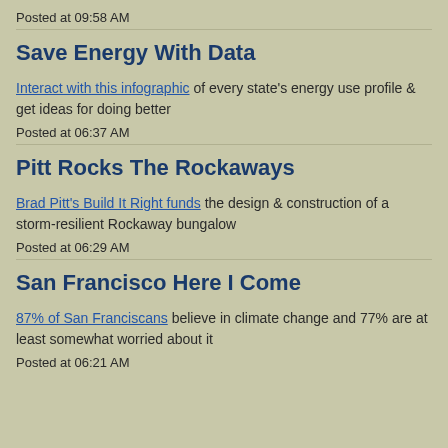Posted at 09:58 AM
Save Energy With Data
Interact with this infographic of every state's energy use profile & get ideas for doing better
Posted at 06:37 AM
Pitt Rocks The Rockaways
Brad Pitt's Build It Right funds the design & construction of a storm-resilient Rockaway bungalow
Posted at 06:29 AM
San Francisco Here I Come
87% of San Franciscans believe in climate change and 77% are at least somewhat worried about it
Posted at 06:21 AM